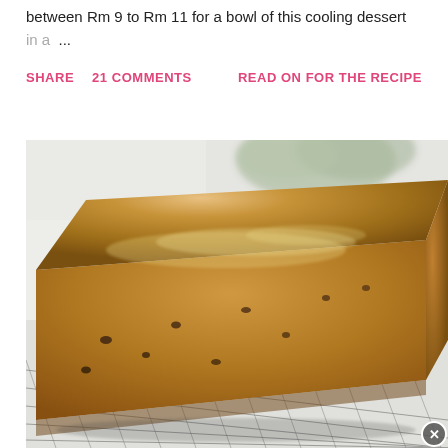between Rm 9 to Rm 11 for a bowl of this cooling dessert in a ...
SHARE    21 COMMENTS    READ ON FOR THE RECIPE
[Figure (photo): Close-up photo of a golden-brown loaf cake (appears to be a fruit or raisin loaf) sitting on a wire cooling rack, with green foliage blurred in the background. A small circular close/dismiss button appears at the bottom right corner.]